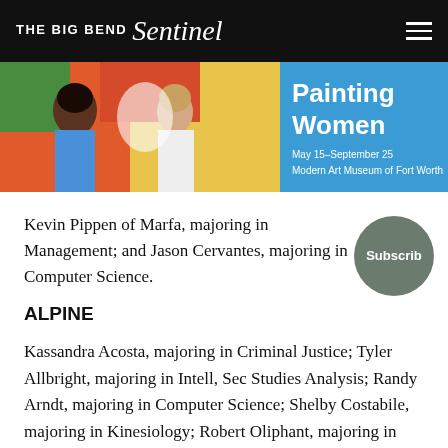THE BIG BEND Sentinel
[Figure (illustration): Banner advertisement for 'Painting Women' exhibition at Modern Art Museum of Fort Worth, May 15–September 25. Shows colorful painted figures of women on left with blue background and white text on right.]
Kevin Pippen of Marfa, majoring in Management; and Jason Cervantes, majoring in Computer Science.
ALPINE
Kassandra Acosta, majoring in Criminal Justice; Tyler Allbright, majoring in Intell, Sec Studies Analysis; Randy Arndt, majoring in Computer Science; Shelby Costabile, majoring in Kinesiology; Robert Oliphant, majoring in Criminal Justice; Pedro Rodriguez, majoring in Theatre; Elias Salcido, majoring in